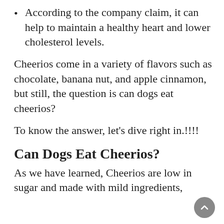According to the company claim, it can help to maintain a healthy heart and lower cholesterol levels.
Cheerios come in a variety of flavors such as chocolate, banana nut, and apple cinnamon, but still, the question is can dogs eat cheerios?
To know the answer, let's dive right in.!!!!
Can Dogs Eat Cheerios?
As we have learned, Cheerios are low in sugar and made with mild ingredients,